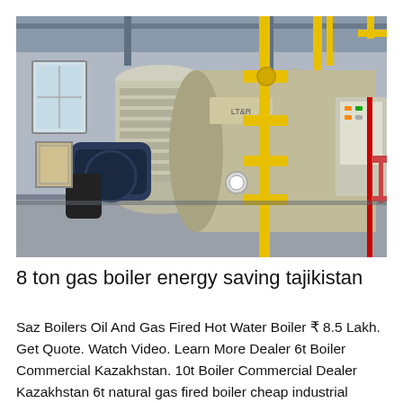[Figure (photo): Industrial boiler room showing two large horizontal gas-fired boilers with yellow gas pipes and fittings, blue burner assemblies, control panels, and structural steel framework in a gray concrete building interior.]
8 ton gas boiler energy saving tajikistan
Saz Boilers Oil And Gas Fired Hot Water Boiler ₹ 8.5 Lakh. Get Quote. Watch Video. Learn More Dealer 6t Boiler Commercial Kazakhstan. 10t Boiler Commercial Dealer Kazakhstan 6t natural gas fired boiler cheap industrial